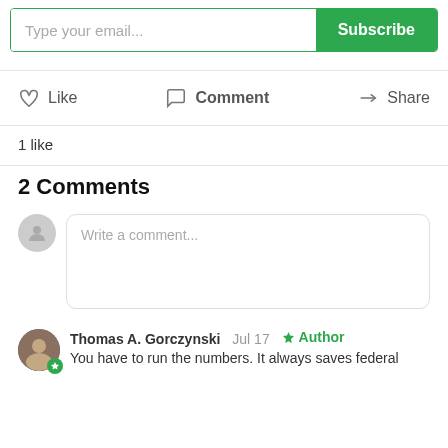Type your email... [Subscribe button]
Like   Comment   Share
1 like
2 Comments
Write a comment...
Thomas A. Gorczynski  Jul 17  Author
You have to run the numbers. It always saves federal